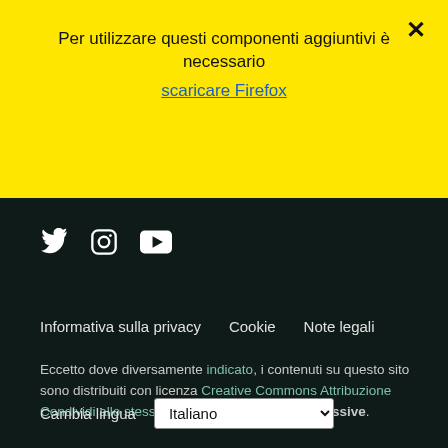Per utilizzare questi componenti aggiuntivi è necessario
scaricare Firefox
[Figure (other): Close (X) button in top right of yellow banner]
[Figure (other): Social media icons: Twitter, Instagram, YouTube (white icons on dark background)]
Informativa sulla privacy   Cookie   Note legali
Eccetto dove diversamente indicato, i contenuti su questo sito sono distribuiti con licenza Creative Commons Attribuzione Condividi allo stesso modo 3.0 o versioni successive.
Cambia lingua
Italiano